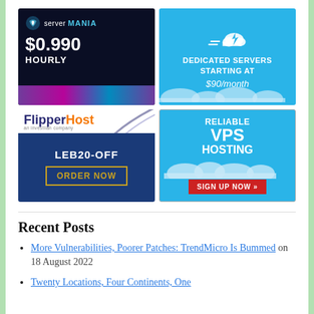[Figure (illustration): Server Mania ad: dark blue background with logo, $0.990 HOURLY price, colorful light streak at bottom]
[Figure (illustration): Dedicated Servers ad: cyan background with cloud icon, text 'DEDICATED SERVERS STARTING AT $90/month']
[Figure (illustration): FlipperHost ad: white top with logo and arc, blue bottom with LEB20-OFF promo code and ORDER NOW button]
[Figure (illustration): VPS Hosting ad: cyan background, text 'RELIABLE VPS HOSTING', red SIGN UP NOW button]
Recent Posts
More Vulnerabilities, Poorer Patches: TrendMicro Is Bummed on 18 August 2022
Twenty Locations, Four Continents, One